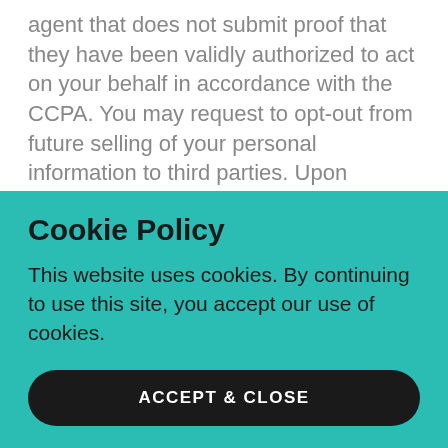agent that does not submit proof that they have been validly authorized to act on your behalf in accordance with the CCPA. You may request to opt-out from future selling of your personal information to third parties. Upon receiving a request to opt-out, we will act upon the request as soon as feasibly possible, but no later than 15 days from the date of the request submission. To exercise the right to...
Cookie Policy
This website uses cookies. By continuing to use this site, you accept our use of cookies.
ACCEPT & CLOSE